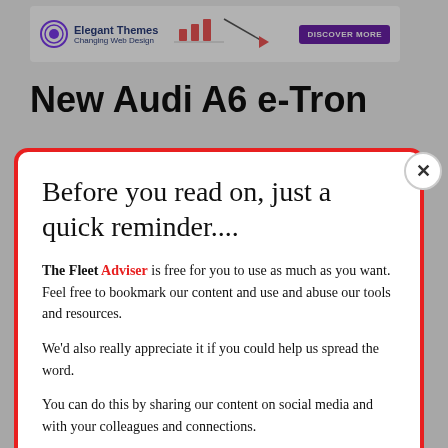[Figure (screenshot): Elegant Themes advertisement banner at top of page]
New Audi A6 e-Tron
Before you read on, just a quick reminder....
The Fleet Adviser is free for you to use as much as you want. Feel free to bookmark our content and use and abuse our tools and resources.
We'd also really appreciate it if you could help us spread the word.
You can do this by sharing our content on social media and with your colleagues and connections.
Thank you in advance – and enjoy!
The Fleet Adviser Team.